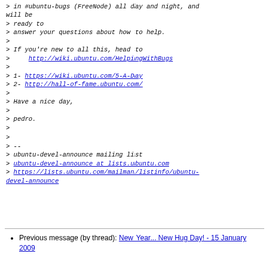> in #ubuntu-bugs (FreeNode) all day and night, and will be
> ready to
> answer your questions about how to help.
>
> If you're new to all this, head to
>     http://wiki.ubuntu.com/HelpingWithBugs
>
> 1- https://wiki.ubuntu.com/5-A-Day
> 2- http://hall-of-fame.ubuntu.com/
>
> Have a nice day,
>
> pedro.
>
>
> --
> ubuntu-devel-announce mailing list
> ubuntu-devel-announce at lists.ubuntu.com
> https://lists.ubuntu.com/mailman/listinfo/ubuntu-devel-announce
Previous message (by thread): New Year... New Hug Day! - 15 January 2009